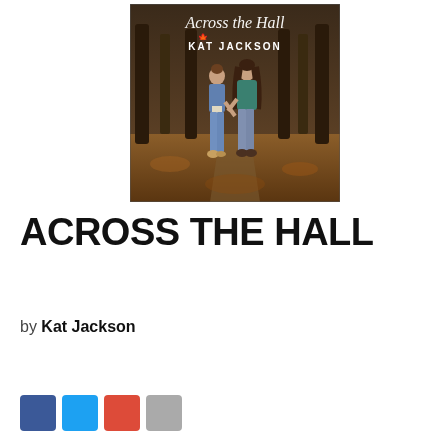[Figure (illustration): Book cover for 'Across the Hall' by Kat Jackson. Shows two women walking away from the camera hand-in-hand through a forest path covered in autumn leaves. One woman wears a denim jacket and jeans; the other wears a teal cable-knit sweater and jeans. The title 'Across the Hall' is written in cursive script at the top and 'KAT JACKSON' appears in capital letters below it.]
ACROSS THE HALL
by Kat Jackson